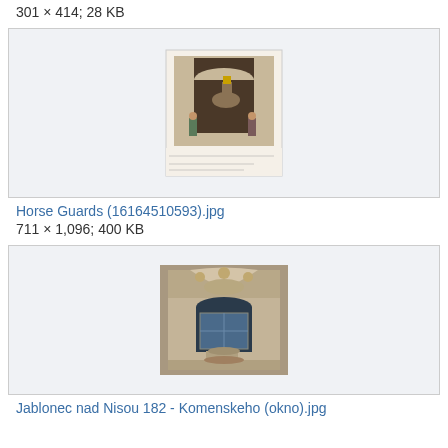301 × 414; 28 KB
[Figure (photo): Vintage postcard illustration showing a mounted Horse Guard on horseback in an archway, with children figures nearby]
Horse Guards (16164510593).jpg
711 × 1,096; 400 KB
[Figure (photo): Photograph of ornate Art Nouveau architectural facade of a building in Jablonec nad Nisou, showing decorative stonework above a window]
Jablonec nad Nisou 182 - Komenskeho (okno).jpg